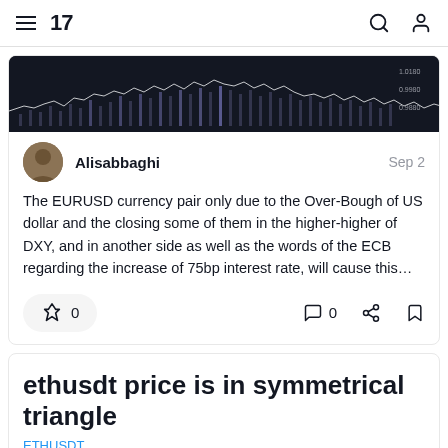TradingView navigation bar with hamburger menu, logo '17', search and account icons
[Figure (screenshot): Dark-themed financial chart (EURUSD or similar) showing candlestick/volume data with white price line against dark background]
Alisabbaghi — Sep 2
The EURUSD currency pair only due to the Over-Bough of US dollar and the closing some of them in the higher-higher of DXY, and in another side as well as the words of the ECB regarding the increase of 75bp interest rate, will cause this…
0   0
ethusdt price is in symmetrical triangle
ETHUSDT